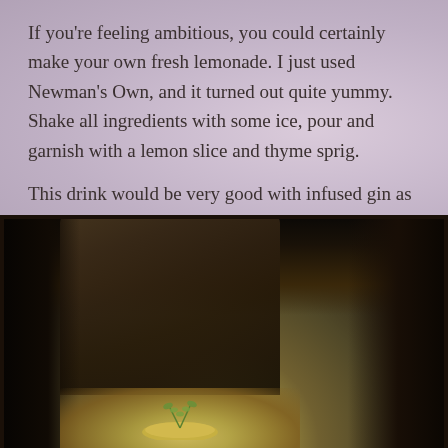If you're feeling ambitious, you could certainly make your own fresh lemonade. I just used Newman's Own, and it turned out quite yummy. Shake all ingredients with some ice, pour and garnish with a lemon slice and thyme sprig.
This drink would be very good with infused gin as well. Play around with it and have fun! I think I might start a mean collection of infused liqueurs this summer with my herb garden. Enjoy!
[Figure (photo): Dark moody photograph showing a wooden stump or log in the background with a blurred bokeh effect, and at the bottom a yellow/green lemon slice with a sprig of thyme herb garnish, suggesting a cocktail presentation.]